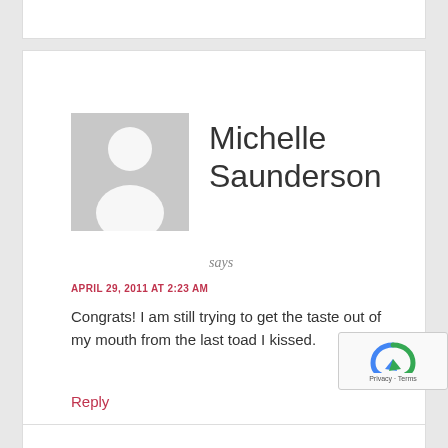[Figure (photo): Default avatar placeholder: grey square with white silhouette of a person (head and shoulders)]
Michelle Saunderson
says
APRIL 29, 2011 AT 2:23 AM
Congrats! I am still trying to get the taste out of my mouth from the last toad I kissed.
Reply